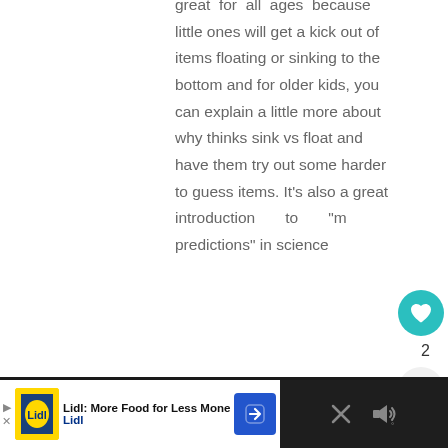great for all ages because little ones will get a kick out of items floating or sinking to the bottom and for older kids, you can explain a little more about why thinks sink vs float and have them try out some harder to guess items. It's also a great introduction to "m predictions" in science
[Figure (screenshot): Social interaction buttons: teal heart/like button with count of 2, and a share button below it]
[Figure (screenshot): What's Next promo card: thumbnail photo, label 'WHAT'S NEXT', title '3 Fun Bubble Activities Fo...']
[Figure (screenshot): Bottom advertisement bar: Lidl 'More Food for Less Money' ad on left, dark section with X close button on right]